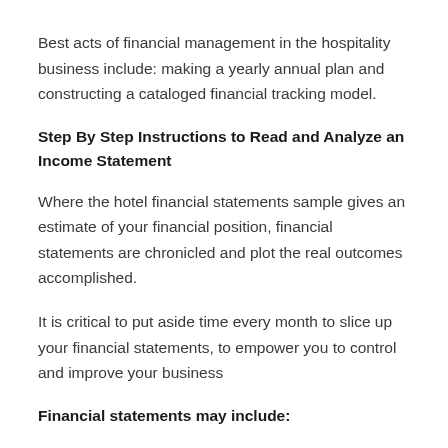Best acts of financial management in the hospitality business include: making a yearly annual plan and constructing a cataloged financial tracking model.
Step By Step Instructions to Read and Analyze an Income Statement
Where the hotel financial statements sample gives an estimate of your financial position, financial statements are chronicled and plot the real outcomes accomplished.
It is critical to put aside time every month to slice up your financial statements, to empower you to control and improve your business
Financial statements may include: